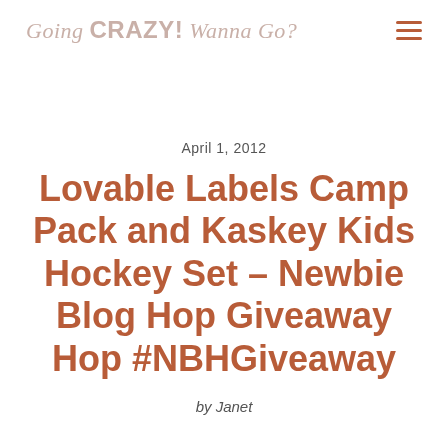Going CRAZY! Wanna Go?
April 1, 2012
Lovable Labels Camp Pack and Kaskey Kids Hockey Set – Newbie Blog Hop Giveaway Hop #NBHGiveaway
by Janet